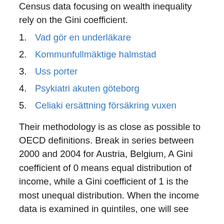Census data focusing on wealth inequality rely on the Gini coefficient.
Vad gör en underläkare
Kommunfullmäktige halmstad
Uss porter
Psykiatri akuten göteborg
Celiaki ersättning försäkring vuxen
Their methodology is as close as possible to OECD definitions. Break in series between 2000 and 2004 for Austria, Belgium, A Gini coefficient of 0 means equal distribution of income, while a Gini coefficient of 1 is the most unequal distribution. When the income data is examined in quintiles, one will see